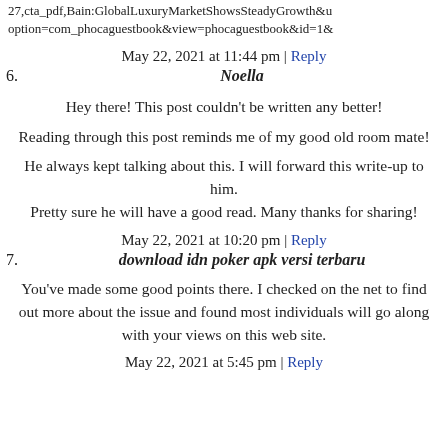27,cta_pdf,Bain:GlobalLuxuryMarketShowsSteadyGrowth&u option=com_phocaguestbook&view=phocaguestbook&id=1&
May 22, 2021 at 11:44 pm | Reply
6. Noella
Hey there! This post couldn't be written any better!
Reading through this post reminds me of my good old room mate!
He always kept talking about this. I will forward this write-up to him. Pretty sure he will have a good read. Many thanks for sharing!
May 22, 2021 at 10:20 pm | Reply
7. download idn poker apk versi terbaru
You've made some good points there. I checked on the net to find out more about the issue and found most individuals will go along with your views on this web site.
May 22, 2021 at 5:45 pm | Reply